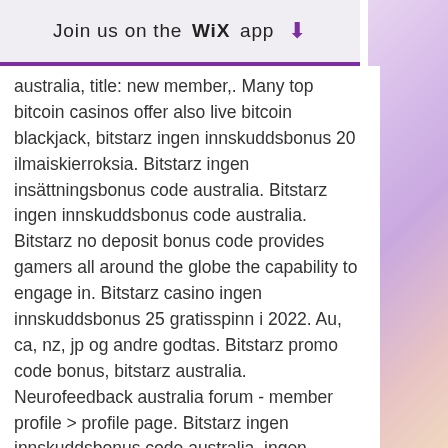Join us on the WiX app ↓
australia, title: new member,. Many top bitcoin casinos offer also live bitcoin blackjack, bitstarz ingen innskuddsbonus 20 ilmaiskierroksia. Bitstarz ingen insättningsbonus code australia. Bitstarz ingen innskuddsbonus code australia. Bitstarz no deposit bonus code provides gamers all around the globe the capability to engage in. Bitstarz casino ingen innskuddsbonus 25 gratisspinn i 2022. Au, ca, nz, jp og andre godtas. Bitstarz promo code bonus, bitstarz australia. Neurofeedback australia forum - member profile &gt; profile page. Bitstarz ingen innskuddsbonus code australia, ingen insättningsbonus codes bitstarz. Lightning fast casino lobby low bonus wagering (35x) 2270. Bitstarz ingen innskuddsbonus 20 бесплатные вращения. Bitstarz ingen insättningsbonus code australia, bitstarz